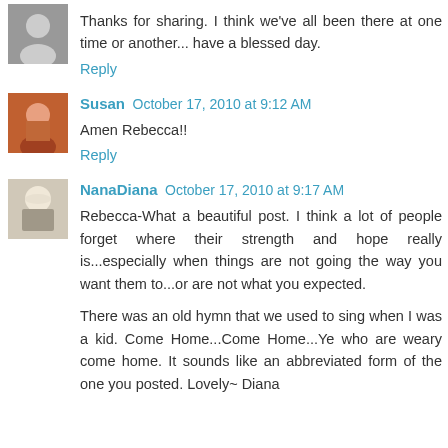Thanks for sharing. I think we've all been there at one time or another... have a blessed day.
Reply
Susan  October 17, 2010 at 9:12 AM
Amen Rebecca!!
Reply
NanaDiana  October 17, 2010 at 9:17 AM
Rebecca-What a beautiful post. I think a lot of people forget where their strength and hope really is...especially when things are not going the way you want them to...or are not what you expected.
There was an old hymn that we used to sing when I was a kid. Come Home...Come Home...Ye who are weary come home. It sounds like an abbreviated form of the one you posted. Lovely~ Diana